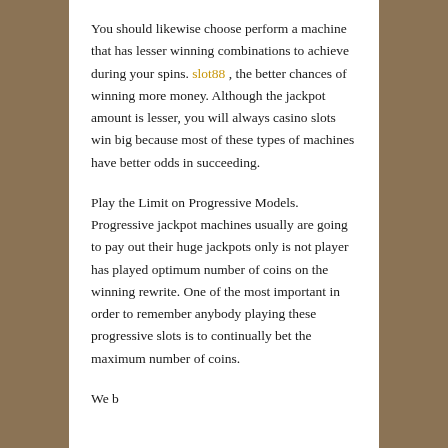You should likewise choose perform a machine that has lesser winning combinations to achieve during your spins. slot88 , the better chances of winning more money. Although the jackpot amount is lesser, you will always casino slots win big because most of these types of machines have better odds in succeeding.
Play the Limit on Progressive Models. Progressive jackpot machines usually are going to pay out their huge jackpots only is not player has played optimum number of coins on the winning rewrite. One of the most important in order to remember anybody playing these progressive slots is to continually bet the maximum number of coins.
We beg you...